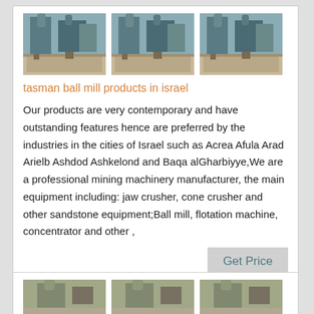[Figure (photo): Three photos of industrial ball mill machinery in a factory/warehouse setting, shown side by side]
tasman ball mill products in israel
Our products are very contemporary and have outstanding features hence are preferred by the industries in the cities of Israel such as Acrea Afula Arad Arielb Ashdod Ashkelond and Baqa alGharbiyye,We are a professional mining machinery manufacturer, the main equipment including: jaw crusher, cone crusher and other sandstone equipment;Ball mill, flotation machine, concentrator and other ,
[Figure (photo): Three partial photos of mining/industrial equipment, partially visible at bottom of page]